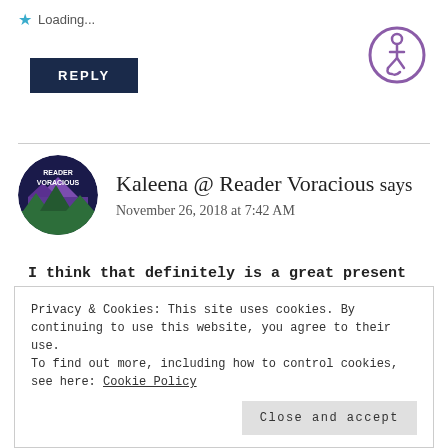Loading...
[Figure (logo): Accessibility icon — person in wheelchair inside purple circle]
REPLY
[Figure (logo): Reader Voracious circular logo with dark blue background, purple mountains, and green trees]
Kaleena @ Reader Voracious says
November 26, 2018 at 7:42 AM
I think that definitely is a great present to give yourself!!!
Loading...
Privacy & Cookies: This site uses cookies. By continuing to use this website, you agree to their use.
To find out more, including how to control cookies, see here: Cookie Policy
Close and accept